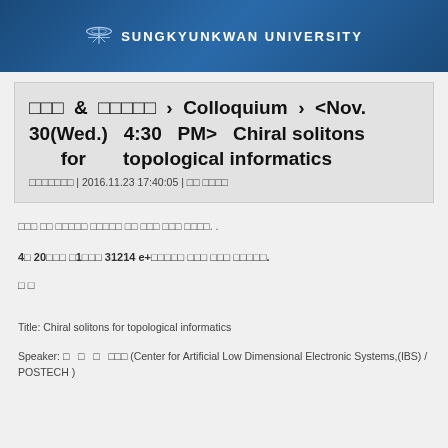SUNGKYUNKWAN UNIVERSITY
□□□ & □□□□□ › Colloquium › <Nov. 30(Wed.) 4:30 PM> Chiral solitons for topological informatics □□□□□□□ | 2016.11.23 17:40:05 | □□ □□□□
□□□ □□ □□□□□ □□□□□ □□ □□□ □□□ □□□□. .
4□ 20□□□ □1□□□ 31214 e+□□□□□ □□□ □□□ □□□□□.
□ □
Title: Chiral solitons for topological informatics
Speaker: □ □ □ □□□ (Center for Artificial Low Dimensional Electronic Systems,(IBS) / POSTECH )